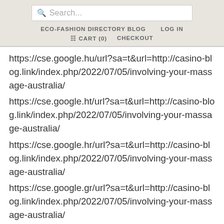Search... ECO-FASHION DIRECTORY BLOG LOG IN CART (0) CHECKOUT
https://cse.google.hu/url?sa=t&url=http://casino-blog.link/index.php/2022/07/05/involving-your-massage-australia/
https://cse.google.ht/url?sa=t&url=http://casino-blog.link/index.php/2022/07/05/involving-your-massage-australia/
https://cse.google.hr/url?sa=t&url=http://casino-blog.link/index.php/2022/07/05/involving-your-massage-australia/
https://cse.google.gr/url?sa=t&url=http://casino-blog.link/index.php/2022/07/05/involving-your-massage-australia/
https://cse.google.gm/url?sa=t&url=http://casino-blog.link/index.php/2022/07/05/involving-your-massage-